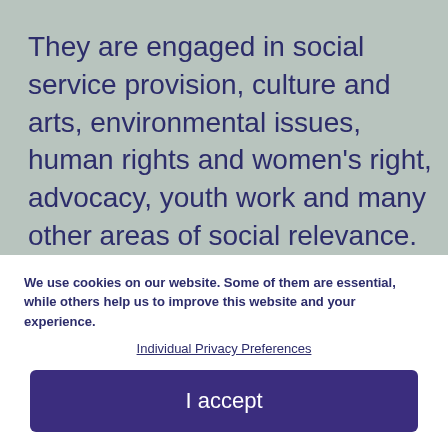They are engaged in social service provision, culture and arts, environmental issues, human rights and women's right, advocacy, youth work and many other areas of social relevance. It is the numerous participants of the NGO Academy
We use cookies on our website. Some of them are essential, while others help us to improve this website and your experience.
Individual Privacy Preferences
I accept